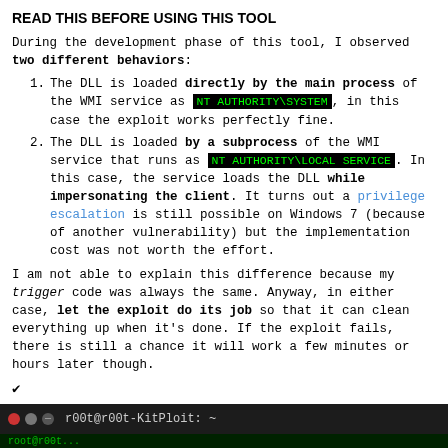READ THIS BEFORE USING THIS TOOL
During the development phase of this tool, I observed two different behaviors:
The DLL is loaded directly by the main process of the WMI service as NT AUTHORITY\SYSTEM, in this case the exploit works perfectly fine.
The DLL is loaded by a subprocess of the WMI service that runs as NT AUTHORITY\LOCAL SERVICE. In this case, the service loads the DLL while impersonating the client. It turns out a privilege escalation is still possible on Windows 7 (because of another vulnerability) but the implementation cost was not worth the effort.
I am not able to explain this difference because my trigger code was always the same. Anyway, in either case, let the exploit do its job so that it can clean everything up when it's done. If the exploit fails, there is still a chance it will work a few minutes or hours later though.
✔
Here is what you should see when the exploit works:
[Figure (screenshot): Terminal window showing r00t@r00t-KitPloit: ~ in title bar with dark background]